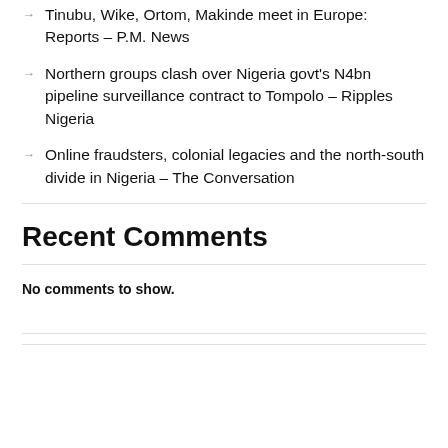Tinubu, Wike, Ortom, Makinde meet in Europe: Reports – P.M. News
Northern groups clash over Nigeria govt's N4bn pipeline surveillance contract to Tompolo – Ripples Nigeria
Online fraudsters, colonial legacies and the north-south divide in Nigeria – The Conversation
Recent Comments
No comments to show.